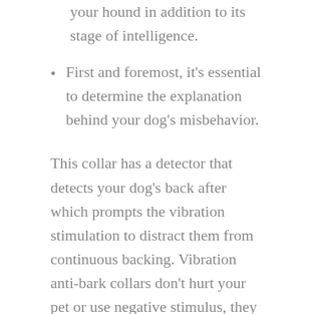your hound in addition to its stage of intelligence.
First and foremost, it's essential to determine the explanation behind your dog's misbehavior.
This collar has a detector that detects your dog's back after which prompts the vibration stimulation to distract them from continuous backing. Vibration anti-bark collars don't hurt your pet or use negative stimulus, they simply distract your canine long enough to stop them from barking. A bark collar is a specific sort of training collar that you must use on your dog if it